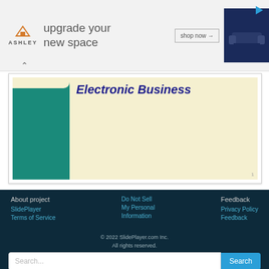[Figure (other): Ashley Furniture advertisement banner with logo, 'upgrade your new space' text, 'shop now' button, and sofa image]
[Figure (screenshot): SlidePlayer slide thumbnail showing 'Electronic Business' title in italic blue text on cream background with teal left bar, page number 1]
About project
SlidePlayer
Terms of Service
Do Not Sell
My Personal
Information
Feedback
Privacy Policy
Feedback
© 2022 SlidePlayer.com Inc.
All rights reserved.